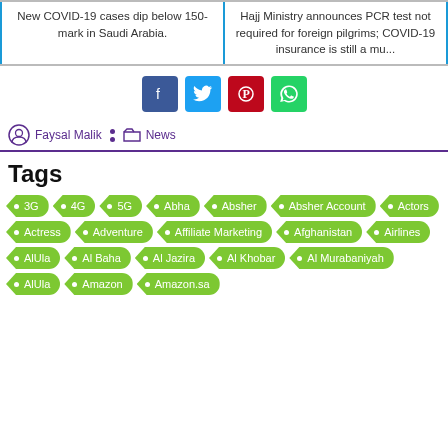New COVID-19 cases dip below 150-mark in Saudi Arabia.
Hajj Ministry announces PCR test not required for foreign pilgrims; COVID-19 insurance is still a mu...
[Figure (infographic): Social share buttons: Facebook, Twitter, Pinterest, WhatsApp]
Faysal Malik · News
Tags
3G
4G
5G
Abha
Absher
Absher Account
Actors
Actress
Adventure
Affiliate Marketing
Afghanistan
Airlines
AlUla
Al Baha
Al Jazira
Al Khobar
Al Murabaniyah
AlUla
Amazon
Amazon.sa